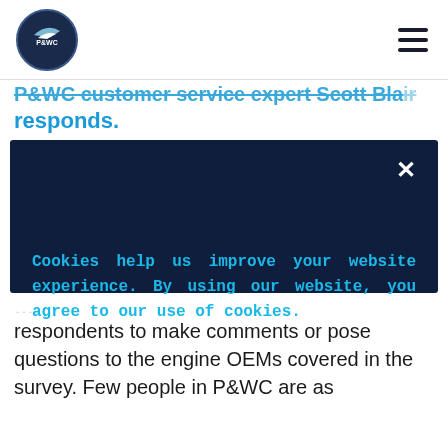[Figure (logo): Pratt & Whitney Canada eagle logo circle]
P&WC customer service expert Scott Blair responds.
[Figure (screenshot): Cookie consent modal overlay on dark navy background with close X button. Text reads: Cookies help us improve your website experience. By using our website, you agree to our use of cookies.]
respondents to make comments or pose questions to the engine OEMs covered in the survey. Few people in P&WC are as